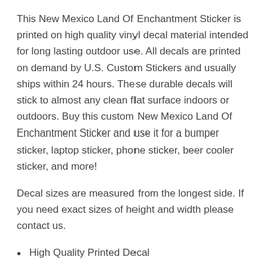This New Mexico Land Of Enchantment Sticker is printed on high quality vinyl decal material intended for long lasting outdoor use. All decals are printed on demand by U.S. Custom Stickers and usually ships within 24 hours. These durable decals will stick to almost any clean flat surface indoors or outdoors. Buy this custom New Mexico Land Of Enchantment Sticker and use it for a bumper sticker, laptop sticker, phone sticker, beer cooler sticker, and more!
Decal sizes are measured from the longest side. If you need exact sizes of height and width please contact us.
High Quality Printed Decal
Peel and Stick To Smooth Surfaces